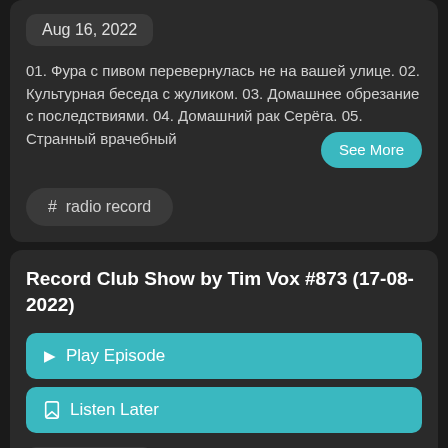Aug 16, 2022
01. Фура с пивом перевернулась не на вашей улице. 02. Культурная беседа с жуликом. 03. Домашнее обрезание с последствиями. 04. Домашний рак Серёга. 05. Странный врачебный
See More
#  radio record
Record Club Show by Tim Vox #873 (17-08-2022)
▶  Play Episode
☐  Listen Later
Aug 16, 2022